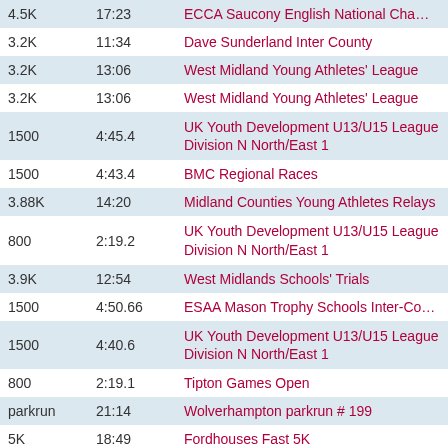| Distance | Time | Event |
| --- | --- | --- |
| 4.5K | 17:23 | ECCA Saucony English National Championships |
| 3.2K | 11:34 | Dave Sunderland Inter County |
| 3.2K | 13:06 | West Midland Young Athletes' League |
| 3.2K | 13:06 | West Midland Young Athletes' League |
| 1500 | 4:45.4 | UK Youth Development U13/U15 League Division N North/East 1 |
| 1500 | 4:43.4 | BMC Regional Races |
| 3.88K | 14:20 | Midland Counties Young Athletes Relays |
| 800 | 2:19.2 | UK Youth Development U13/U15 League Division N North/East 1 |
| 3.9K | 12:54 | West Midlands Schools' Trials |
| 1500 | 4:50.66 | ESAA Mason Trophy Schools Inter-County Champi |
| 1500 | 4:40.6 | UK Youth Development U13/U15 League Division N North/East 1 |
| 800 | 2:19.1 | Tipton Games Open |
| parkrun | 21:14 | Wolverhampton parkrun # 199 |
| 5K | 18:49 | Fordhouses Fast 5K |
| 2M | 14:09 | Shugborough Relays |
| parkrun | 19:51 | Wolverhampton parkrun # 157 |
| 2.5K | 9:45 | West Midland Young Athletes' League |